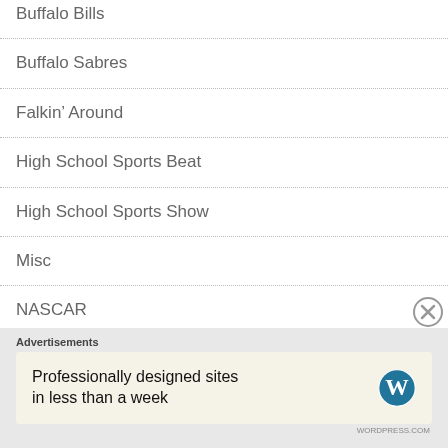Buffalo Bills
Buffalo Sabres
Falkin' Around
High School Sports Beat
High School Sports Show
Misc
NASCAR
New York Mets
Advertisements
Professionally designed sites in less than a week